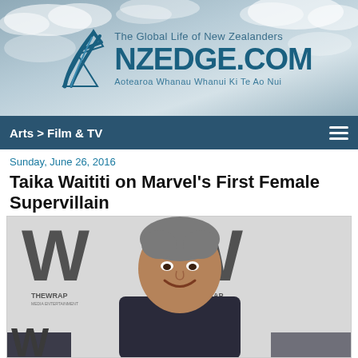[Figure (logo): NZEdge.com website header with logo featuring a silver fern/arrow graphic, tagline 'The Global Life of New Zealanders', site name 'NZEDGE.COM', and Maori tagline 'Aotearoa Whanau Whanui Ki Te Ao Nui', set against a cloudy sky background.]
Arts > Film & TV
Sunday, June 26, 2016
Taika Waititi on Marvel’s First Female Supervillain
[Figure (photo): Photo of Taika Waititi smiling at what appears to be a TheWrap event, standing in front of a backdrop with 'W' and 'THEWRAP' logos repeated.]